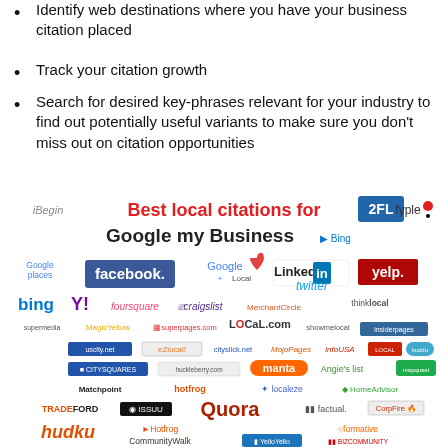Identify web destinations where you have your business citation placed
Track your citation growth
Search for desired key-phrases relevant for your industry to find out potentially useful variants to make sure you don't miss out on citation opportunities
[Figure (infographic): Infographic showing 'Best local citations for Google my Business' with logos of many local citation/directory websites including iBegin, 2FL, fyple, Google places, facebook, Google+ Local, LinkedIn, yelp, bing, Yahoo, foursquare, craigslist, MerchantCircle, thinklocal, supermedia, MagicYellow, superpages.com, LOCaL.com, showmelocal, insiderpages, uscity.net, EZlocal, cityslick.net, MojoPages, infoUSA, Bing Local, Kudzu, CITYSQUARES, huckleberry.com, manta, Angie's list, mapquest, Matchpoint, hotfrog, localeze, HomeAdvisor, TRADEFORD, ISSUU, Quora, factual, CorpFire, hudku, Hotfrog, CommunityWalk, YelloYello, formative, BIZCOMMUNITY]